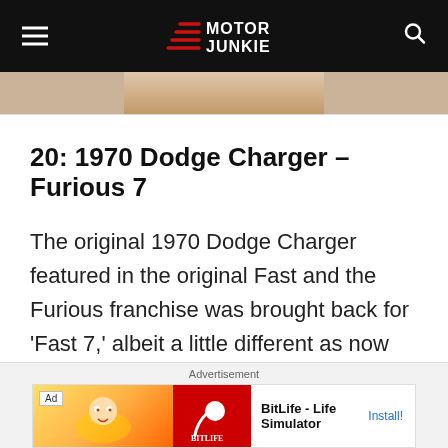Motor Junkie
[Figure (photo): Partial image of a person, cropped at top of page]
20: 1970 Dodge Charger – Furious 7
The original 1970 Dodge Charger featured in the original Fast and the Furious franchise was brought back for 'Fast 7,' albeit a little different as now the Charger
Advertisement
[Figure (screenshot): BitLife - Life Simulator advertisement banner with Ad tag, cartoon character on yellow/orange background, red BitLife logo, and Install! link]